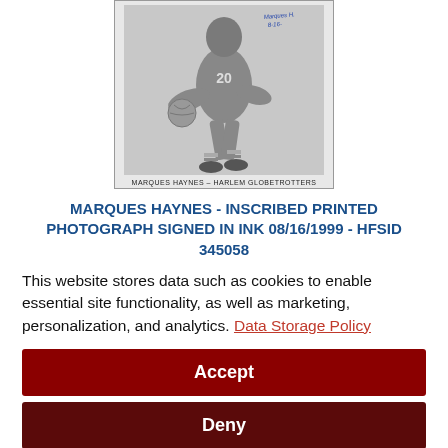[Figure (photo): Black and white photograph of Marques Haynes dribbling a basketball in a Harlem Globetrotters uniform. The photo has a handwritten inscription/signature. Caption reads: MARQUES HAYNES – HARLEM GLOBETROTTERS]
MARQUES HAYNES - INSCRIBED PRINTED PHOTOGRAPH SIGNED IN INK 08/16/1999 - HFSID 345058
This website stores data such as cookies to enable essential site functionality, as well as marketing, personalization, and analytics. Data Storage Policy
Accept
Deny